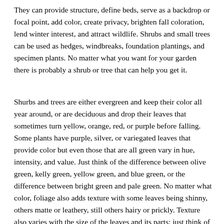They can provide structure,  define beds,  serve as a backdrop or focal point, add color,  create privacy, brighten fall coloration, lend winter interest,  and attract wildlife.   Shrubs and small trees can be used as hedges, windbreaks,  foundation plantings, and specimen plants.  No matter what you want for your garden there is probably a shrub or tree that can help you get it.
Shurbs and trees are either evergreen and keep their color all year around, or are deciduous and drop their leaves that sometimes turn yellow, orange, red, or purple before falling. Some plants have purple, silver, or variegated leaves that provide color but even those that are all green vary in hue, intensity, and value.  Just think of the difference between  olive green, kelly green, yellow green,  and blue green, or the difference between bright green and pale green.  No matter what color, foliage also adds texture with some leaves being shinny, others matte or leathery, still others hairy or prickly. Texture also varies with the size of the leaves and its parts;  just think of the difference between a fern frond and magnolia leaf.